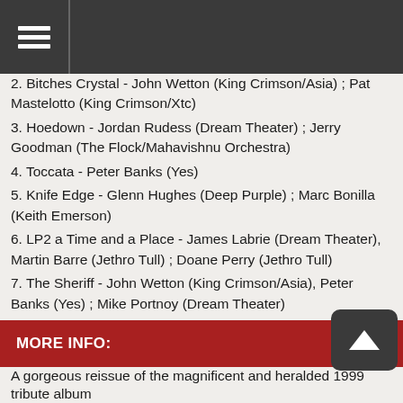Navigation menu header
2. Bitches Crystal - John Wetton (King Crimson/Asia) ; Pat Mastelotto (King Crimson/Xtc)
3. Hoedown - Jordan Rudess (Dream Theater) ; Jerry Goodman (The Flock/Mahavishnu Orchestra)
4. Toccata - Peter Banks (Yes)
5. Knife Edge - Glenn Hughes (Deep Purple) ; Marc Bonilla (Keith Emerson)
6. LP2 a Time and a Place - James Labrie (Dream Theater), Martin Barre (Jethro Tull) ; Doane Perry (Jethro Tull)
7. The Sheriff - John Wetton (King Crimson/Asia), Peter Banks (Yes) ; Mike Portnoy (Dream Theater)
8. The Barbarian - Robert Berry (3/Ambrosia)
9. The Endless Enigma - Trent Gardner (Magellan) ; Geoff Downes (Yes/Asia)
10. Tarkus - James Labrie (Dream Theater) ; Derek Sherinian (Dream Theater)
MORE INFO:
A gorgeous reissue of the magnificent and heralded 1999 tribute album